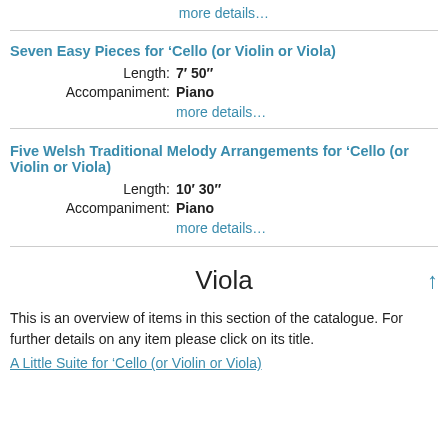more details…
Seven Easy Pieces for 'Cello (or Violin or Viola)
Length: 7′ 50″
Accompaniment: Piano
more details…
Five Welsh Traditional Melody Arrangements for 'Cello (or Violin or Viola)
Length: 10′ 30″
Accompaniment: Piano
more details…
Viola
This is an overview of items in this section of the catalogue. For further details on any item please click on its title.
A Little Suite for 'Cello (or Violin or Viola)